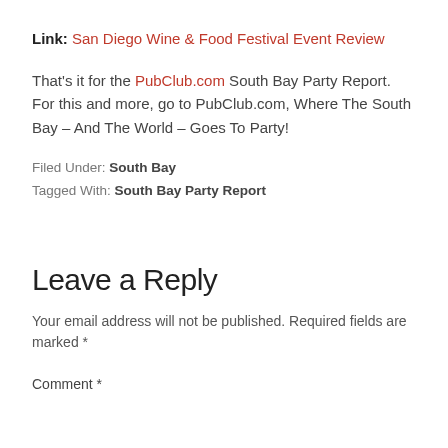Link: San Diego Wine & Food Festival Event Review
That's it for the PubClub.com South Bay Party Report. For this and more, go to PubClub.com, Where The South Bay – And The World – Goes To Party!
Filed Under: South Bay
Tagged With: South Bay Party Report
Leave a Reply
Your email address will not be published. Required fields are marked *
Comment *